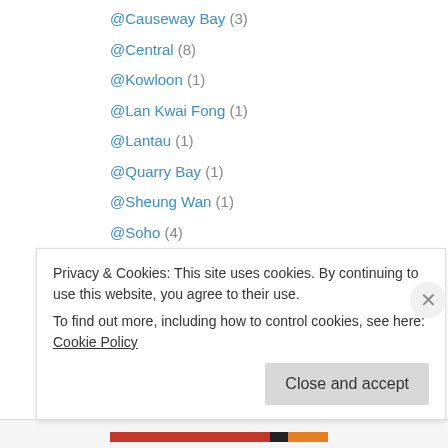@Causeway Bay (3)
@Central (8)
@Kowloon (1)
@Lan Kwai Fong (1)
@Lantau (1)
@Quarry Bay (1)
@Sheung Wan (1)
@Soho (4)
@Tai Koo (1)
@Tin Hau (1)
@Tsim Sha Tsui (1)
@Wan Chai (1)
@Germany (48)
Privacy & Cookies: This site uses cookies. By continuing to use this website, you agree to their use. To find out more, including how to control cookies, see here: Cookie Policy
Close and accept